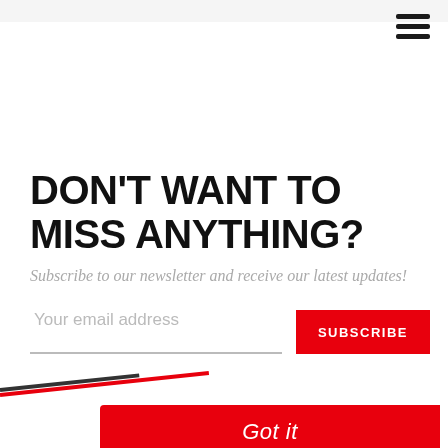DON'T WANT TO MISS ANYTHING?
Subscribe to our newsletter and receive our latest updates!
Your email address  SUBSCRIBE
Got it
This website uses cookies to ensure you get the best experience on our website.